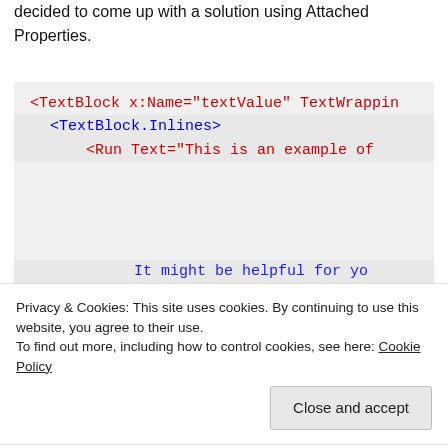decided to come up with a solution using Attached Properties.
[Figure (screenshot): Code block showing XAML: <TextBlock x:Name="textValue" TextWrapping... with <TextBlock.Inlines> and <Run Text="This is an example of...]
[Figure (screenshot): Code block showing XAML: It might be helpful for yo... <Hyperlink NavigateUri="www.bing... <Run Text="for more answers in t... </TextBlock.Inlines>]
Privacy & Cookies: This site uses cookies. By continuing to use this website, you agree to their use.
To find out more, including how to control cookies, see here: Cookie Policy
I am using Caliburn.Micro to bind the text, so the above